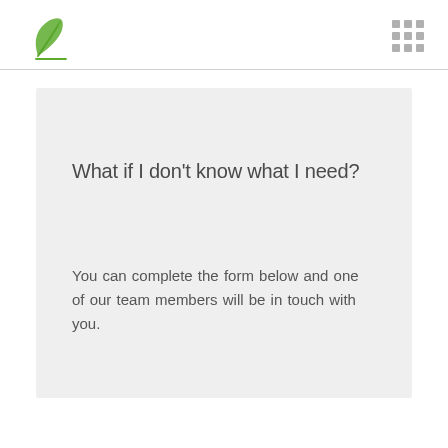What if I don't know what I need?
You can complete the form below and one of our team members will be in touch with you.